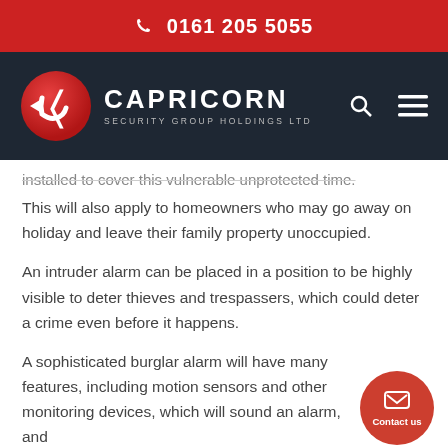0161 205 5055
[Figure (logo): Capricorn Security Group Holdings Ltd logo with red circle containing a stylized C/camera icon, white text CAPRICORN and SECURITY GROUP HOLDINGS LTD on dark navy background]
installed to cover this vulnerable unprotected time. This will also apply to homeowners who may go away on holiday and leave their family property unoccupied.
An intruder alarm can be placed in a position to be highly visible to deter thieves and trespassers, which could deter a crime even before it happens.
A sophisticated burglar alarm will have many features, including motion sensors and other monitoring devices, which will sound an alarm, and